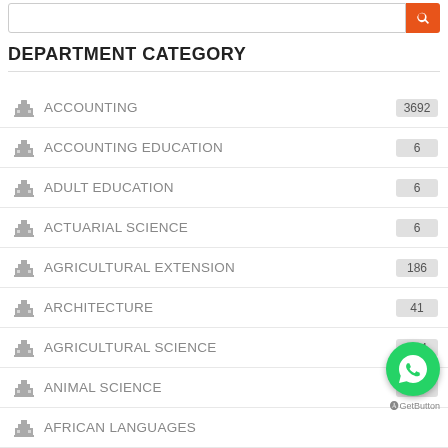DEPARTMENT CATEGORY
ACCOUNTING
ACCOUNTING EDUCATION
ADULT EDUCATION
ACTUARIAL SCIENCE
AGRICULTURAL EXTENSION
ARCHITECTURE
AGRICULTURAL SCIENCE
ANIMAL SCIENCE
AFRICAN LANGUAGES
BANKING AND FINANCE